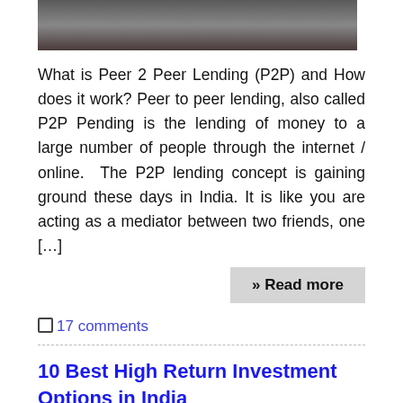[Figure (photo): Partial photo of people, cropped at top of page]
What is Peer 2 Peer Lending (P2P) and How does it work? Peer to peer lending, also called P2P Pending is the lending of money to a large number of people through the internet / online. The P2P lending concept is gaining ground these days in India. It is like you are acting as a mediator between two friends, one [...]
» Read more
17 comments
10 Best High Return Investment Options in India